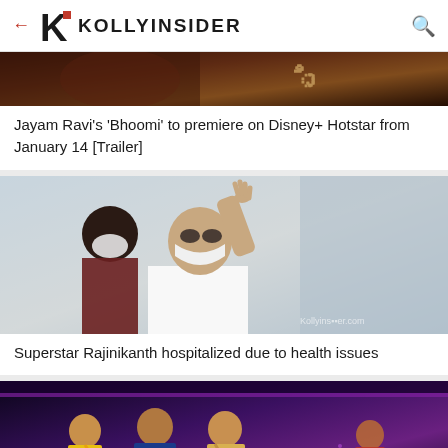KOLLYINSIDER
[Figure (photo): Partial view of a movie banner/poster for 'Bhoomi' with Tamil text visible]
Jayam Ravi's 'Bhoomi' to premiere on Disney+ Hotstar from January 14 [Trailer]
[Figure (photo): Superstar Rajinikanth wearing a white shirt and white face mask, waving his hand, with another masked person visible behind him]
Superstar Rajinikanth hospitalized due to health issues
[Figure (photo): Three contestants standing on a Bigg Boss stage with purple lighting in the background]